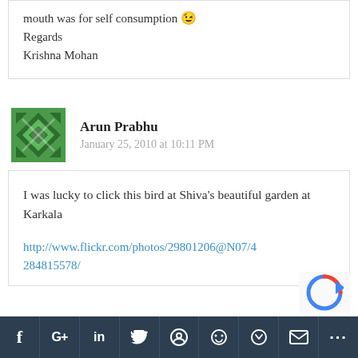mouth was for self consumption 😉
Regards
Krishna Mohan
Arun Prabhu
January 25, 2010 at 10:11 PM
I was lucky to click this bird at Shiva's beautiful garden at Karkala
http://www.flickr.com/photos/29801206@N07/4284815578/